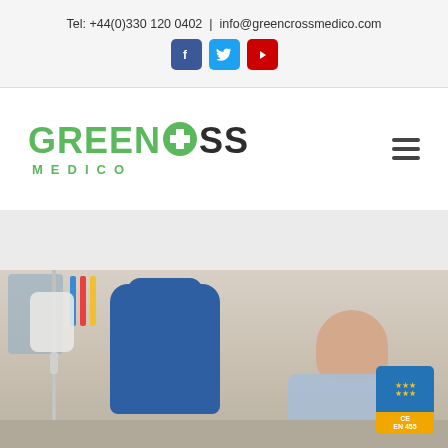Tel: +44(0)330 120 0402  |  info@greencrossmedico.com
[Figure (logo): Green Cross Medico logo with green and dark text and circular cross icon, plus hamburger menu icon]
[Figure (photo): Hospital/clinic infusion room: man sitting in blue recliner chair receiving IV drip treatment, IV stand with bag visible on left, EU certification badge in lower right corner]